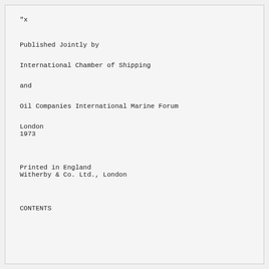"x
Published Jointly by
International Chamber of Shipping
and
Oil Companies International Marine Forum
London
1973
Printed in England
Witherby & Co. Ltd., London
CONTENTS